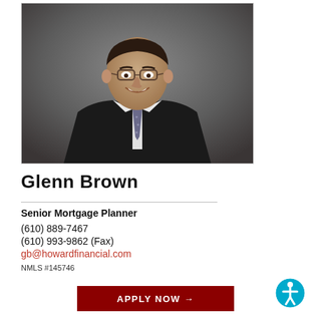[Figure (photo): Professional headshot of Glenn Brown, a man in a dark suit with white shirt and patterned tie, smiling, wearing glasses, against a grey background.]
Glenn Brown
Senior Mortgage Planner
(610) 889-7467
(610) 993-9862 (Fax)
gb@howardfinancial.com
NMLS #145746
APPLY NOW →